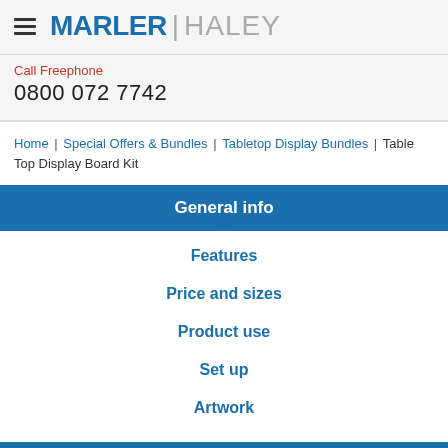MARLER | HALEY
Call Freephone
0800 072 7742
Home | Special Offers & Bundles | Tabletop Display Bundles | Table Top Display Board Kit
General info
Features
Price and sizes
Product use
Set up
Artwork